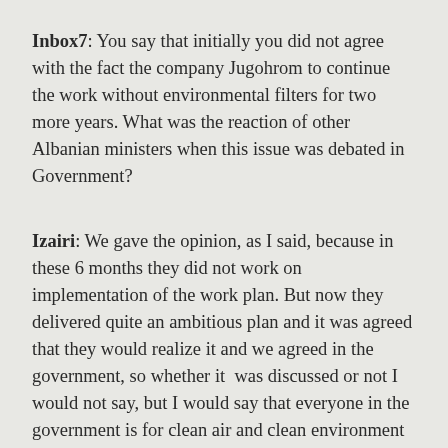Inbox7: You say that initially you did not agree with the fact the company Jugohrom to continue the work without environmental filters for two more years. What was the reaction of other Albanian ministers when this issue was debated in Government?
Izairi: We gave the opinion, as I said, because in these 6 months they did not work on implementation of the work plan. But now they delivered quite an ambitious plan and it was agreed that they would realize it and we agreed in the government, so whether it was discussed or not I would not say, but I would say that everyone in the government is for clean air and clean environment and no one is for or against pollution. It